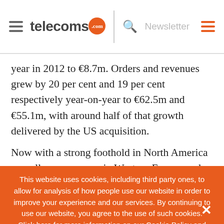telecoms.com
year in 2012 to €8.7m. Orders and revenues grew by 20 per cent and 19 per cent respectively year-on-year to €62.5m and €55.1m, with around half of that growth delivered by the US acquisition.
Now with a strong foothold in North America as well as a presence in Western Europe and Latin America, the firm said it
This website uses cookies, including third party ones, to allow for analysis of how people use our website in order to improve your experience and our services. By continuing to use our website, you agree to the use of such cookies. Click here for more information on our Cookie Policy and Privacy Policy.